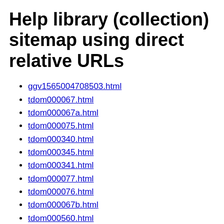Help library (collection) sitemap using direct relative URLs
ggv1565004708503.html
tdom000067.html
tdom000067a.html
tdom000075.html
tdom000340.html
tdom000345.html
tdom000341.html
tdom000077.html
tdom000076.html
tdom000067b.html
tdom000560.html
tdom000565.html
tdom000566.html
tdom000068.html
tdom000073.html
tdom000048.html